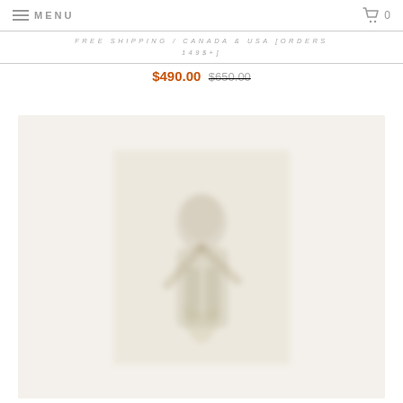MENU
FREE SHIPPING / CANADA & USA [ORDERS 149$+]
$490.00 $650.00
[Figure (photo): Product image showing a blurred/soft-focus artwork or illustration on a cream/beige background, displayed as a framed print or card]